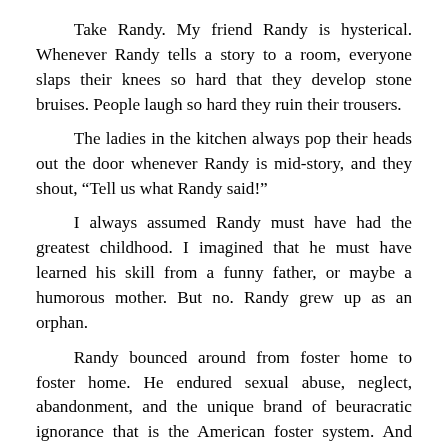Take Randy. My friend Randy is hysterical. Whenever Randy tells a story to a room, everyone slaps their knees so hard that they develop stone bruises. People laugh so hard they ruin their trousers.

The ladies in the kitchen always pop their heads out the door whenever Randy is mid-story, and they shout, “Tell us what Randy said!”

I always assumed Randy must have had the greatest childhood. I imagined that he must have learned his skill from a funny father, or maybe a humorous mother. But no. Randy grew up as an orphan.

Randy bounced around from foster home to foster home. He endured sexual abuse, neglect, abandonment, and the unique brand of beuracratic ignorance that is the American foster system. And somehow, he learned to laugh in its face.

“I like to laugh until I cry,” Randy once told me. “Or vice versa.”

The thing is. He always laughed, but tears fell down...